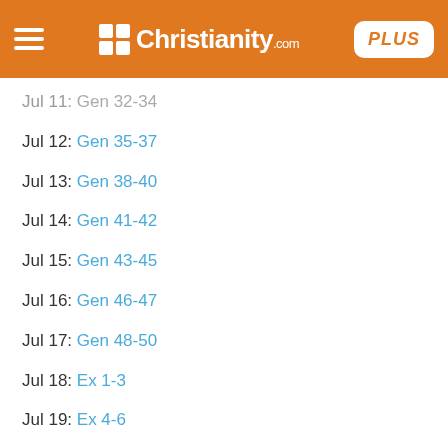Christianity.com PLUS
Jul 11: Gen 32-34
Jul 12: Gen 35-37
Jul 13: Gen 38-40
Jul 14: Gen 41-42
Jul 15: Gen 43-45
Jul 16: Gen 46-47
Jul 17: Gen 48-50
Jul 18: Ex 1-3
Jul 19: Ex 4-6
Jul 20: Ex 7-9
Jul 21: Ex 10-12
Jul 22: Ex 13-15
Jul 23: Ex 16-18